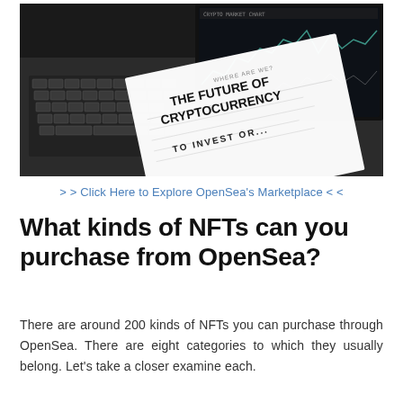[Figure (photo): A photograph of a laptop with a stock chart on the screen, and a white paper document on top showing the text 'THE FUTURE OF CRYPTOCURRENCY' and 'TO INVEST OR...' in bold black letters on a dark background.]
> > Click Here to Explore OpenSea's Marketplace < <
What kinds of NFTs can you purchase from OpenSea?
There are around 200 kinds of NFTs you can purchase through OpenSea. There are eight categories to which they usually belong. Let's take a closer examine each.